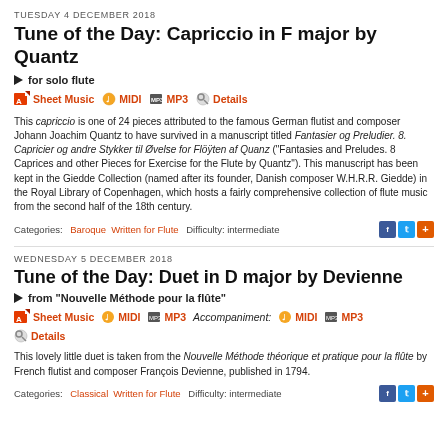TUESDAY 4 DECEMBER 2018
Tune of the Day: Capriccio in F major by Quantz
▶ for solo flute
Sheet Music  MIDI  MP3  Details (links row)
This capriccio is one of 24 pieces attributed to the famous German flutist and composer Johann Joachim Quantz to have survived in a manuscript titled Fantasier og Preludier. 8. Capricier og andre Stykker til Øvelse for Flöÿten af Quanz ("Fantasies and Preludes. 8 Caprices and other Pieces for Exercise for the Flute by Quantz"). This manuscript has been kept in the Giedde Collection (named after its founder, Danish composer W.H.R.R. Giedde) in the Royal Library of Copenhagen, which hosts a fairly comprehensive collection of flute music from the second half of the 18th century.
Categories: Baroque  Written for Flute  Difficulty: intermediate
WEDNESDAY 5 DECEMBER 2018
Tune of the Day: Duet in D major by Devienne
▶ from "Nouvelle Méthode pour la flûte"
Sheet Music  MIDI  MP3  Accompaniment: MIDI  MP3  Details (links row)
This lovely little duet is taken from the Nouvelle Méthode théorique et pratique pour la flûte by French flutist and composer François Devienne, published in 1794.
Categories: Classical  Written for Flute  Difficulty: intermediate